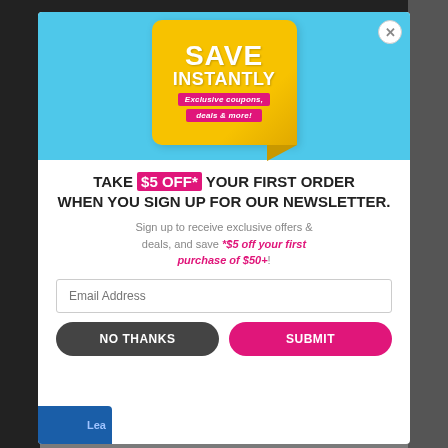[Figure (screenshot): Website popup modal with a 'Save Instantly' sticker graphic on a light blue banner, promotional headline offering $5 off first order for newsletter signup, subtext about exclusive offers, email input field, and two buttons: 'NO THANKS' and 'SUBMIT'.]
TAKE $5 OFF* YOUR FIRST ORDER WHEN YOU SIGN UP FOR OUR NEWSLETTER.
Sign up to receive exclusive offers & deals, and save *$5 off your first purchase of $50+!
Email Address
NO THANKS
SUBMIT